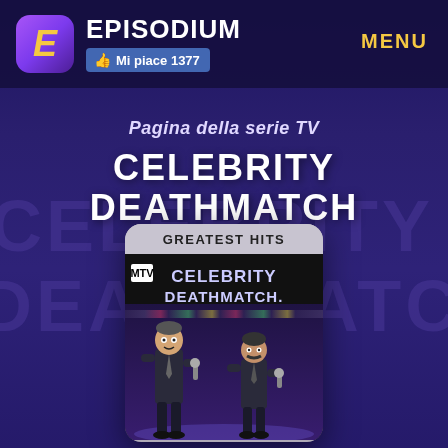EPISODIUM | Mi piace 1377 | MENU
Pagina della serie TV
CELEBRITY DEATHMATCH
[Figure (illustration): Card showing Celebrity Deathmatch Greatest Hits cover with two clay animated TV host figures in suits holding microphones, on a dark arena background with colored lights]